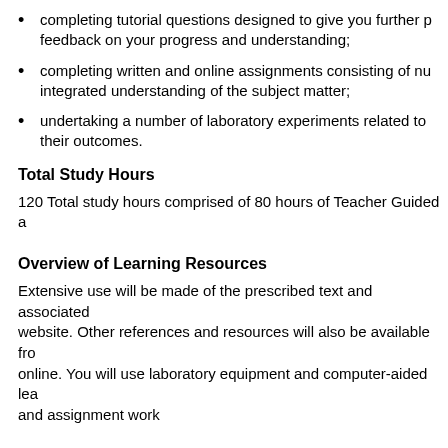completing tutorial questions designed to give you further p feedback on your progress and understanding;
completing written and online assignments consisting of nu integrated understanding of the subject matter;
undertaking a number of laboratory experiments related to their outcomes.
Total Study Hours
120 Total study hours comprised of 80 hours of Teacher Guided a
Overview of Learning Resources
Extensive use will be made of the prescribed text and associated website. Other references and resources will also be available fro online. You will use laboratory equipment and computer-aided lea and assignment work
Overview of Assessment
Note that: